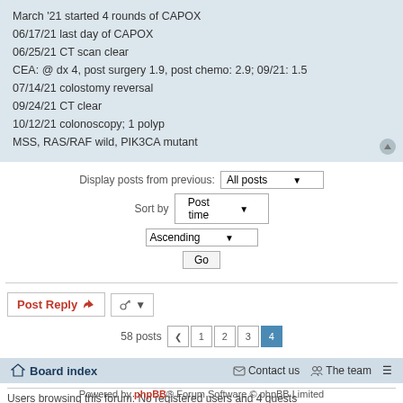March '21 started 4 rounds of CAPOX
06/17/21 last day of CAPOX
06/25/21 CT scan clear
CEA: @ dx 4, post surgery 1.9, post chemo: 2.9; 09/21: 1.5
07/14/21 colostomy reversal
09/24/21 CT clear
10/12/21 colonoscopy; 1 polyp
MSS, RAS/RAF wild, PIK3CA mutant
Display posts from previous: All posts ▼
Sort by Post time ▼
Ascending ▼
Go
Post Reply
58 posts  < 1 2 3 4
WHO IS ONLINE
Users browsing this forum: No registered users and 4 guests
Board index   Contact us   The team
Powered by phpBB® Forum Software © phpBB Limited